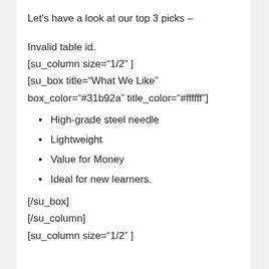Let's have a look at our top 3 picks –
Invalid table id.
[su_column size="1/2" ]
[su_box title="What We Like" box_color="#31b92a" title_color="#ffffff"]
High-grade steel needle
Lightweight
Value for Money
Ideal for new learners.
[/su_box]
[/su_column]
[su_column size="1/2" ]